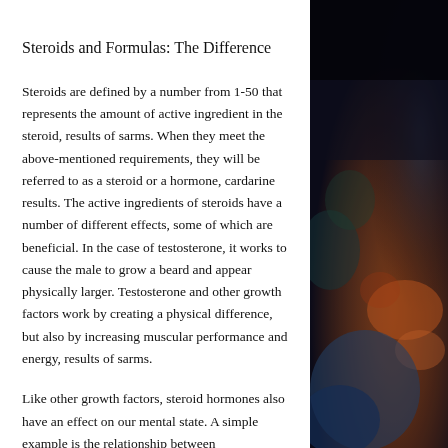Steroids and Formulas: The Difference
Steroids are defined by a number from 1-50 that represents the amount of active ingredient in the steroid, results of sarms. When they meet the above-mentioned requirements, they will be referred to as a steroid or a hormone, cardarine results. The active ingredients of steroids have a number of different effects, some of which are beneficial. In the case of testosterone, it works to cause the male to grow a beard and appear physically larger. Testosterone and other growth factors work by creating a physical difference, but also by increasing muscular performance and energy, results of sarms.
Like other growth factors, steroid hormones also have an effect on our mental state. A simple example is the relationship between
[Figure (photo): Blurred dark background photo showing what appears to be a person wearing a denim jacket, with orange/warm colored bokeh elements, predominantly dark blue and dark tones]